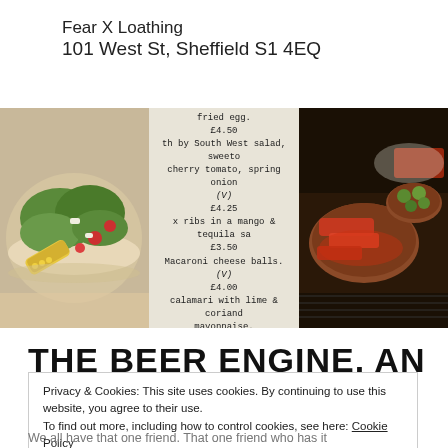Fear X Loathing
101 West St, Sheffield S1 4EQ
[Figure (photo): Collage of three images: left shows a colourful salad with grilled corn and vegetables in a bowl, centre shows a menu with Courier-style typeface listing items like fried egg, South West salad, ribs in mango & tequila sauce, macaroni cheese balls, calamari with lime & coriander mayonnaise with prices, right shows tapas-style dishes with meats and olives on a table.]
THE BEER ENGINE. AN ODE TO
Privacy & Cookies: This site uses cookies. By continuing to use this website, you agree to their use.
To find out more, including how to control cookies, see here: Cookie Policy
We all have that one friend. That one friend who has it